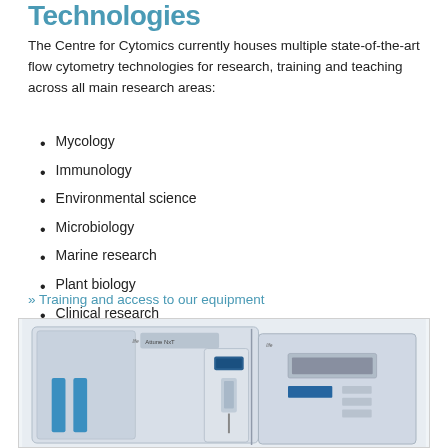Technologies
The Centre for Cytomics currently houses multiple state-of-the-art flow cytometry technologies for research, training and teaching across all main research areas:
Mycology
Immunology
Environmental science
Microbiology
Marine research
Plant biology
Clinical research
» Training and access to our equipment
[Figure (photo): Photo of flow cytometry equipment - Attune NxT flow cytometer and related laboratory instruments, white and grey machines with blue accents]